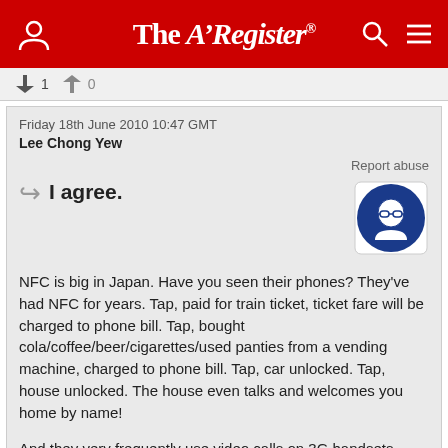The Register
↑1  ↓0
Friday 18th June 2010 10:47 GMT
Lee Chong Yew
Report abuse
I agree.
NFC is big in Japan. Have you seen their phones? They've had NFC for years. Tap, paid for train ticket, ticket fare will be charged to phone bill. Tap, bought cola/coffee/beer/cigarettes/used panties from a vending machine, charged to phone bill. Tap, car unlocked. Tap, house unlocked. The house even talks and welcomes you home by name!
And they very frequently use video calls on 3G handsets compared to the rest of the world.
Nokia probably thought that this will make them